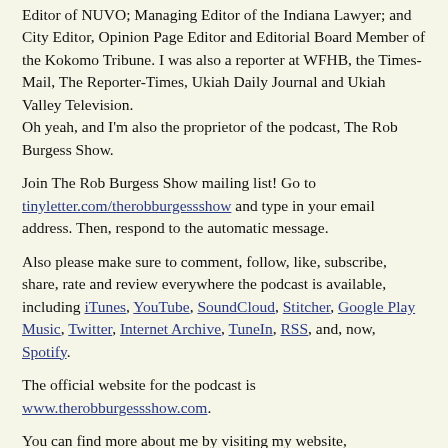Editor of NUVO; Managing Editor of the Indiana Lawyer; and City Editor, Opinion Page Editor and Editorial Board Member of the Kokomo Tribune. I was also a reporter at WFHB, the Times-Mail, The Reporter-Times, Ukiah Daily Journal and Ukiah Valley Television.
Oh yeah, and I'm also the proprietor of the podcast, The Rob Burgess Show.
Join The Rob Burgess Show mailing list! Go to tinyletter.com/therobburgessshow and type in your email address. Then, respond to the automatic message.
Also please make sure to comment, follow, like, subscribe, share, rate and review everywhere the podcast is available, including iTunes, YouTube, SoundCloud, Stitcher, Google Play Music, Twitter, Internet Archive, TuneIn, RSS, and, now, Spotify.
The official website for the podcast is www.therobburgessshow.com.
You can find more about me by visiting my website, www.thisburgess.com.If you have something to say, record a voice memo on your smartphone and send it to